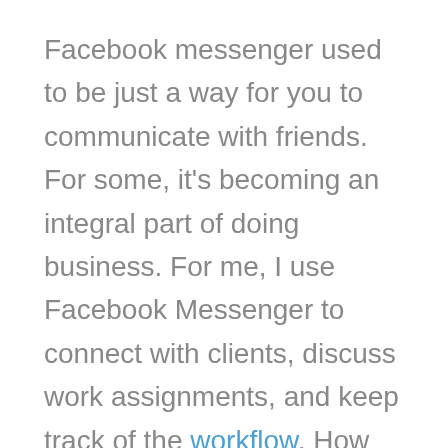Facebook messenger used to be just a way for you to communicate with friends. For some, it's becoming an integral part of doing business. For me, I use Facebook Messenger to connect with clients, discuss work assignments, and keep track of the workflow. How you use Facebook Messenger chats are up to you, but it's always great to have a backup outside of Facebook.
Now, you can download Facebook Messenger conversations and other